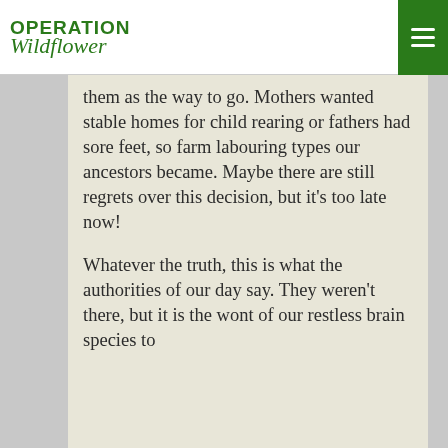OPERATION Wildflower
them as the way to go. Mothers wanted stable homes for child rearing or fathers had sore feet, so farm labouring types our ancestors became. Maybe there are still regrets over this decision, but it's too late now!
Whatever the truth, this is what the authorities of our day say. They weren't there, but it is the wont of our restless brain species to